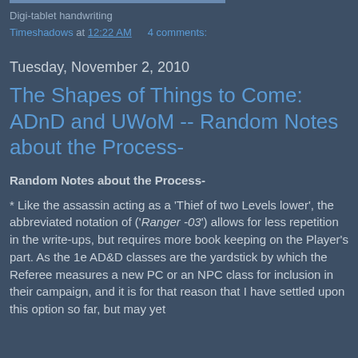Digi-tablet handwriting
Timeshadows at 12:22 AM   4 comments:
Tuesday, November 2, 2010
The Shapes of Things to Come: ADnD and UWoM -- Random Notes about the Process-
Random Notes about the Process-
* Like the assassin acting as a 'Thief of two Levels lower', the abbreviated notation of ('Ranger -03') allows for less repetition in the write-ups, but requires more book keeping on the Player's part. As the 1e AD&D classes are the yardstick by which the Referee measures a new PC or an NPC class for inclusion in their campaign, and it is for that reason that I have settled upon this option so far, but may yet decide to write the more explicit Class Move...